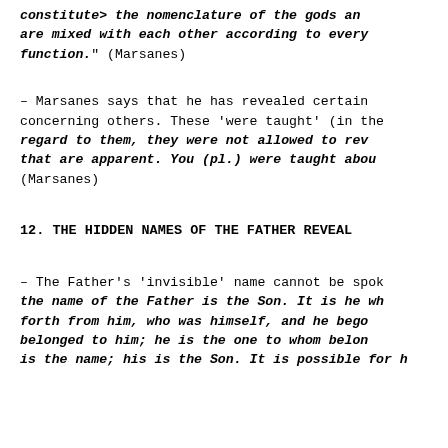constitute> the nomenclature of the gods and are mixed with each other according to every function." (Marsanes)
– Marsanes says that he has revealed certain concerning others. These 'were taught' (in the regard to them, they were not allowed to reve that are apparent. You (pl.) were taught abou (Marsanes)
12. THE HIDDEN NAMES OF THE FATHER REVEAL
– The Father's 'invisible' name cannot be spok the name of the Father is the Son. It is he wh forth from him, who was himself, and he bego belonged to him; he is the one to whom belon is the name; his is the Son. It is possible for h